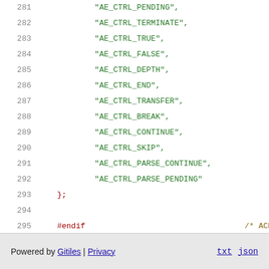281    "AE_CTRL_PENDING",
282    "AE_CTRL_TERMINATE",
283    "AE_CTRL_TRUE",
284    "AE_CTRL_FALSE",
285    "AE_CTRL_DEPTH",
286    "AE_CTRL_END",
287    "AE_CTRL_TRANSFER",
288    "AE_CTRL_BREAK",
289    "AE_CTRL_CONTINUE",
290    "AE_CTRL_SKIP",
291    "AE_CTRL_PARSE_CONTINUE",
292    "AE_CTRL_PARSE_PENDING"
293 };
294
295 #endif                                     /* ACPI GLOBALS
296
297 #endif                                     /* __ACEXCEP_H_
Powered by Gitiles | Privacy    txt  json